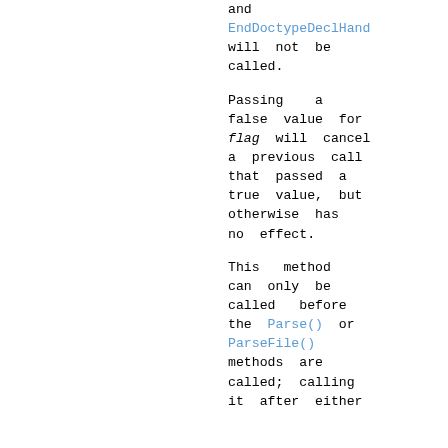and EndDoctypeDeclHandler will not be called.
Passing a false value for flag will cancel a previous call that passed a true value, but otherwise has no effect.
This method can only be called before the Parse() or ParseFile() methods are called; calling it after either of them has